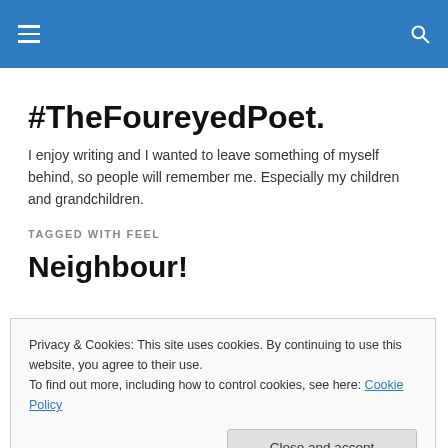#TheFoureyedPoet.
I enjoy writing and I wanted to leave something of myself behind, so people will remember me. Especially my children and grandchildren.
TAGGED WITH FEEL
Neighbour!
Privacy & Cookies: This site uses cookies. By continuing to use this website, you agree to their use.
To find out more, including how to control cookies, see here: Cookie Policy
[Close and accept]